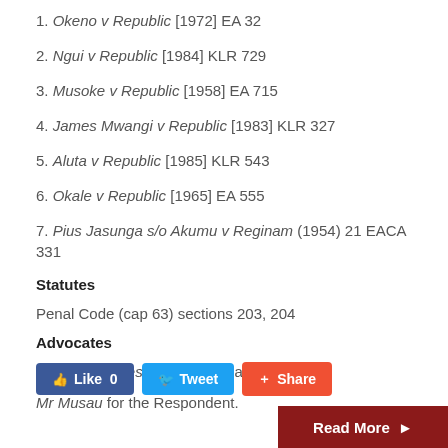1. Okeno v Republic [1972] EA 32
2. Ngui v Republic [1984] KLR 729
3. Musoke v Republic [1958] EA 715
4. James Mwangi v Republic [1983] KLR 327
5. Aluta v Republic [1985] KLR 543
6. Okale v Republic [1965] EA 555
7. Pius Jasunga s/o Akumu v Reginam (1954) 21 EACA 331
Statutes
Penal Code (cap 63) sections 203, 204
Advocates
Mr LG Menezes for the Appellant.
Mr Musau for the Respondent.